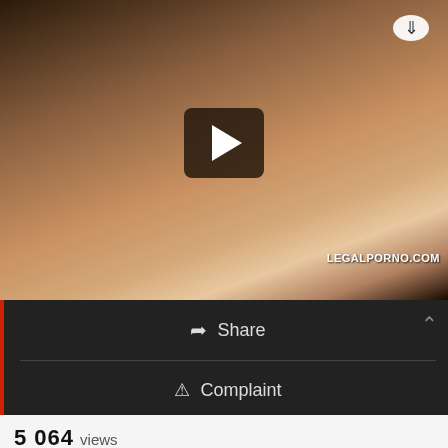[Figure (screenshot): Video thumbnail with play button overlay showing adult content with LEGALPORNO.COM watermark and download icon]
Share
Complaint
5 064 views